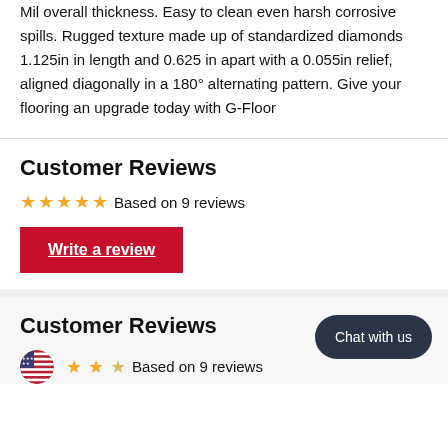G-Floor™ Elite Diamond Tread™ is a 10 Mil base and a 100 Mil overall thickness. Easy to clean even harsh corrosive spills. Rugged texture made up of standardized diamonds 1.125in in length and 0.625 in apart with a 0.055in relief, aligned diagonally in a 180° alternating pattern. Give your flooring an upgrade today with G-Floor
Customer Reviews
Based on 9 reviews
Write a review
Customer Reviews
Based on 9 reviews